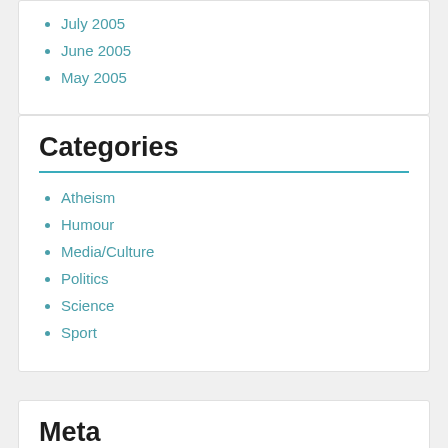July 2005
June 2005
May 2005
Categories
Atheism
Humour
Media/Culture
Politics
Science
Sport
Meta